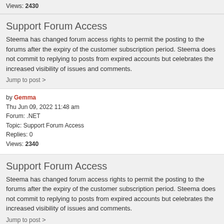Views: 2430
Support Forum Access
Steema has changed forum access rights to permit the posting to the forums after the expiry of the customer subscription period. Steema does not commit to replying to posts from expired accounts but celebrates the increased visibility of issues and comments.
Jump to post >
by Gemma
Thu Jun 09, 2022 11:48 am
Forum: .NET
Topic: Support Forum Access
Replies: 0
Views: 2340
Support Forum Access
Steema has changed forum access rights to permit the posting to the forums after the expiry of the customer subscription period. Steema does not commit to replying to posts from expired accounts but celebrates the increased visibility of issues and comments.
Jump to post >
by Gemma
Thu Jun 09, 2022 11:48 am
Forum: Java
Topic: Support Forum Access
Replies: 0
Views: 3323